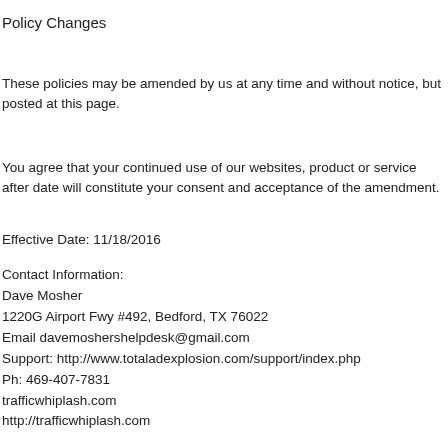Policy Changes
These policies may be amended by us at any time and without notice, but posted at this page.
You agree that your continued use of our websites, product or service after date will constitute your consent and acceptance of the amendment.
Effective Date: 11/18/2016
Contact Information:
Dave Mosher
1220G Airport Fwy #492, Bedford, TX 76022
Email davemoshershelpdesk@gmail.com
Support: http://www.totaladexplosion.com/support/index.php
Ph: 469-407-7831
trafficwhiplash.com
http://trafficwhiplash.com